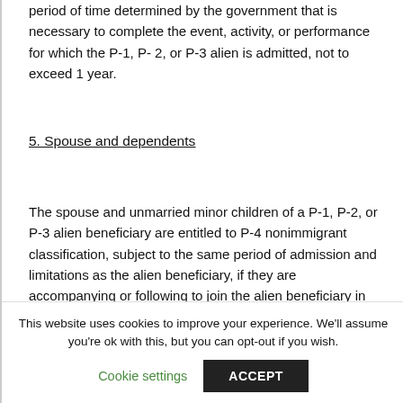period of time determined by the government that is necessary to complete the event, activity, or performance for which the P-1, P- 2, or P-3 alien is admitted, not to exceed 1 year.
5.  Spouse and dependents
The spouse and unmarried minor children of a P-1, P-2, or P-3 alien beneficiary are entitled to P-4 nonimmigrant classification, subject to the same period of admission and limitations as the alien beneficiary, if they are accompanying or following to join the alien beneficiary in the United States.
This website uses cookies to improve your experience. We'll assume you're ok with this, but you can opt-out if you wish.